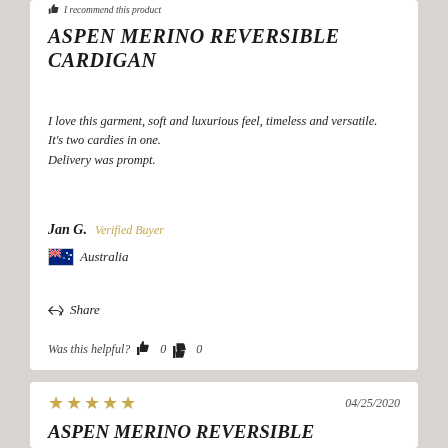I recommend this product
ASPEN MERINO REVERSIBLE CARDIGAN
I love this garment, soft and luxurious feel, timeless and versatile.
It's two cardies in one.
Delivery was prompt.
Jan G.  Verified Buyer
Australia
Share
Was this helpful?  0  0
04/25/2020
ASPEN MERINO REVERSIBLE CARDIGAN
This is a gorgeous cardigan, it's a great length, and I love